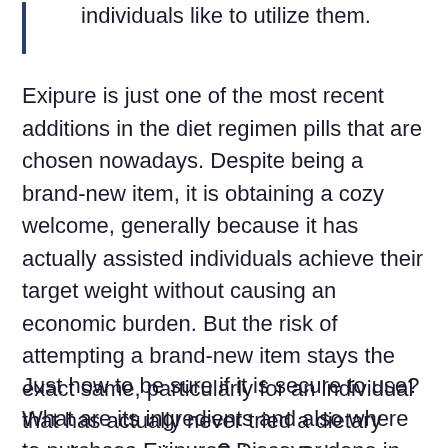back less than a weight loss surgery, so individuals like to utilize them.
Exipure is just one of the most recent additions in the diet regimen pills that are chosen nowadays. Despite being a brand-new item, it is obtaining a cozy welcome, generally because it has actually assisted individuals achieve their target weight without causing an economic burden. But the risk of attempting a brand-new item stays the exact same, particularly for an individual that has actually never tried a dietary supplement prior to.Exipure Sale
Just how to be sure if it is secure to use? What are its ingredients and also where to purchase Exipure? Discover done in this Exipure review.